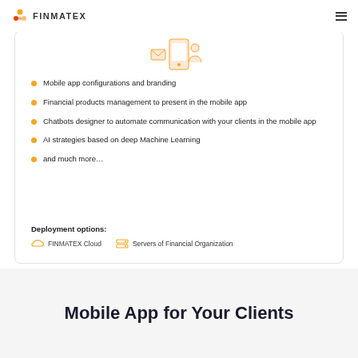FINMATEX
Mobile app configurations and branding
Financial products management to present in the mobile app
Chatbots designer to automate communication with your clients in the mobile app
AI strategies based on deep Machine Learning
and much more…
Deployment options:
FINMATEX Cloud   Servers of Financial Organization
Mobile App for Your Clients